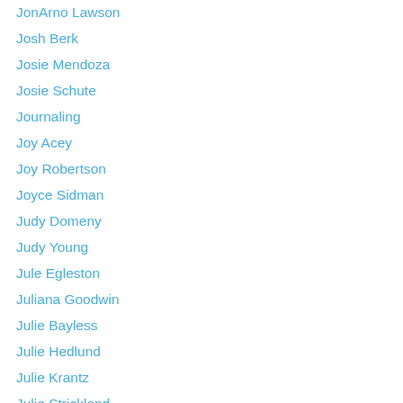JonArno Lawson
Josh Berk
Josie Mendoza
Josie Schute
Journaling
Joy Acey
Joy Robertson
Joyce Sidman
Judy Domeny
Judy Young
Jule Egleston
Juliana Goodwin
Julie Bayless
Julie Hedlund
Julie Krantz
Julie Strickland
June Hall of Fame Poet
June Rae Wood
Just for You to Know
Justice Demand